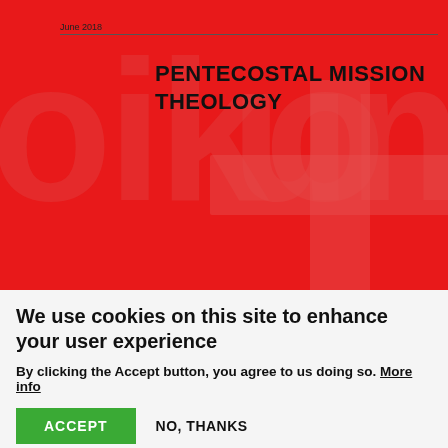[Figure (illustration): Red cover of a publication titled 'Pentecostal Mission Theology', dated June 2018, with a large cross shape and watermark text 'oikoumene' in the background on red.]
We use cookies on this site to enhance your user experience
By clicking the Accept button, you agree to us doing so. More info
ACCEPT   NO, THANKS